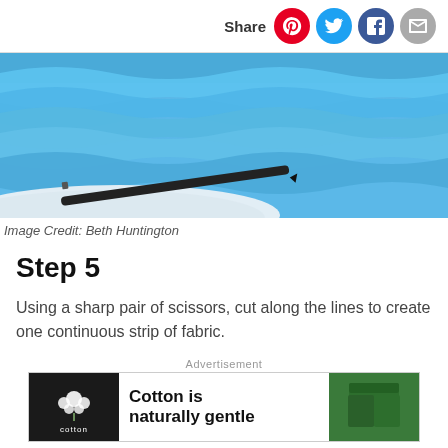Share
[Figure (photo): Close-up photo of blue ruffled fabric with a black pen on a white surface below]
Image Credit: Beth Huntington
Step 5
Using a sharp pair of scissors, cut along the lines to create one continuous strip of fabric.
[Figure (other): Advertisement banner: Cotton is naturally gentle — Cotton logo on black background, green shorts on right]